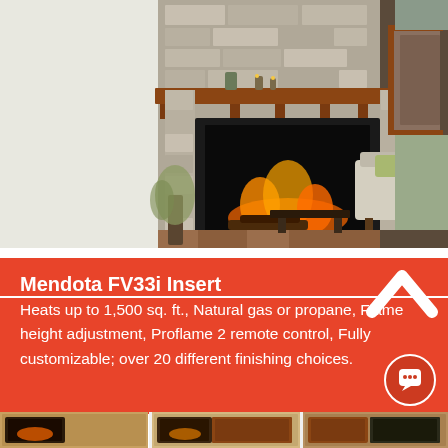[Figure (photo): Interior room photo showing a stone fireplace with a gas fire insert, wooden mantel shelf with candles and decor, beige sofa with green pillows, and wooden flooring. Warm living room setting.]
Mendota FV33i Insert
Heats up to 1,500 sq. ft., Natural gas or propane, Flame height adjustment, Proflame 2 remote control, Fully customizable; over 20 different finishing choices.
[Figure (photo): Bottom strip showing partial images of fireplace inserts in various room settings.]